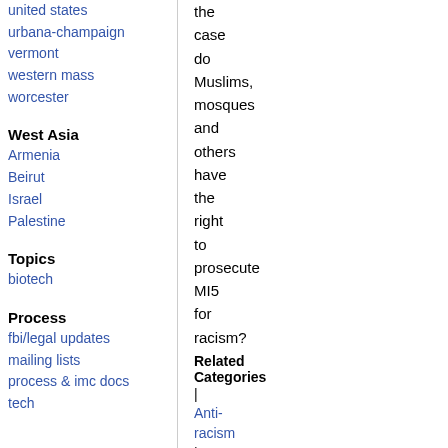united states
urbana-champaign
vermont
western mass
worcester
West Asia
Armenia
Beirut
Israel
Palestine
Topics
biotech
Process
fbi/legal updates
mailing lists
process & imc docs
tech
the case do Muslims, mosques and others have the right to prosecute MI5 for racism?
Related Categories | Anti-racism | Repression | Terror War | South Coast | World